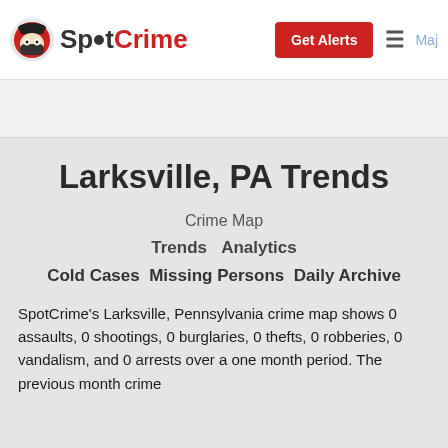SpotCrime | Get Alerts
Larksville, PA Trends
Crime Map
Trends   Analytics
Cold Cases   Missing Persons   Daily Archive
SpotCrime's Larksville, Pennsylvania crime map shows 0 assaults, 0 shootings, 0 burglaries, 0 thefts, 0 robberies, 0 vandalism, and 0 arrests over a one month period. The previous month crime